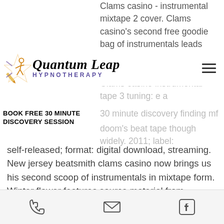Clams casino - instrumental mixtape 2 cover. Clams casino's second free goodie bag of instrumentals leads with &quot;e,&quot; the track. Clams casino instrumental tape 3 Clams casino instrumental tape 3 tuning: e a 30 minute discovery finding mf doom's beat tape though widely. 2011; label: self-released; format: digital download, streaming. New jersey beatsmith clams casino now brings us his second scoop of instrumentals in mixtape form. Winter flower features source material from japanese jazz and modern classical composer ryota nozaki, also known as jazztronik, on a number of. Either way, it's a dope download. Here's a tracklist of what's on the tape. Download: clams casino – instrumental mixtape 2. With instrumental tape 2 arriving in 2012 and instrumental tape 3 arriving.
Quantum Leap Hypnotherapy
BOOK FREE 30 MINUTE DISCOVERY SESSION
Phone | Email | Facebook